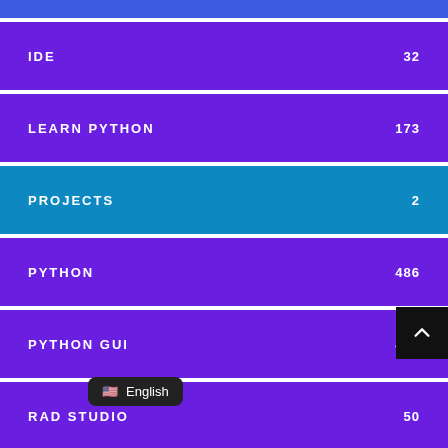IDE  32
LEARN PYTHON  173
PROJECTS  2
PYTHON  486
PYTHON GUI  490
RAD STUDIO  50
TKINTER
V  84